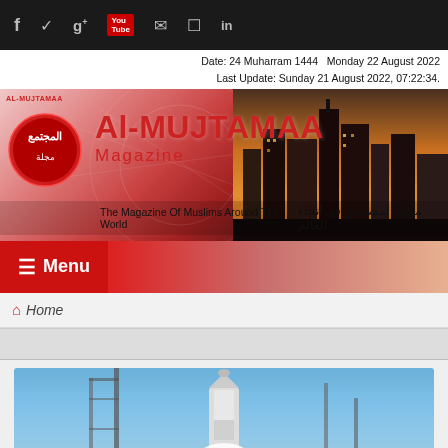Social media icons bar (Facebook, Twitter, Google+, YouTube, Email, Instagram, LinkedIn)
Date: 24 Muharram 1444  Monday 22 August 2022
Last Update: Sunday 21 August 2022, 07:22:34.
[Figure (logo): Al-Mujtamaa Magazine banner with Arabic logo, red title text 'Al-MUJTAMAA Magazine', cityscape background, tagline 'The Magazine Of Muslims Around The World' in English and Arabic]
≡ Menu
🏠 Home
[Figure (photo): Rocket launch photo — rocket on launch pad with white smoke/steam, blue sky background, launch tower structures visible]